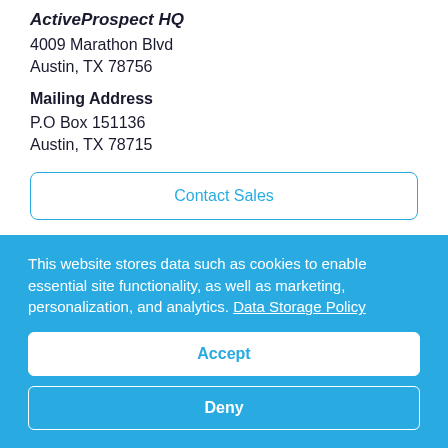ActiveProspect HQ
4009 Marathon Blvd
Austin, TX 78756
Mailing Address
P.O Box 151136
Austin, TX 78715
Contact Sales
Integrations   Solutions
This website stores data such as cookies to enable essential site functionality, as well as marketing, personalization, and analytics. Data Storage Policy
Accept
Deny